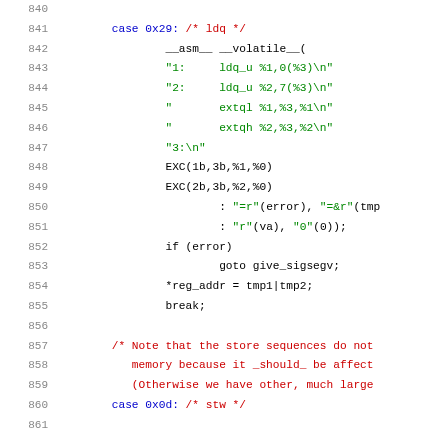Source code listing, lines 840-861, showing a C switch case for ldq (0x29) with inline assembly using __asm__ __volatile__, EXC macros, error handling with goto give_sigsegv, and a comment about store sequences. Line 860 starts case 0x0d for stw.